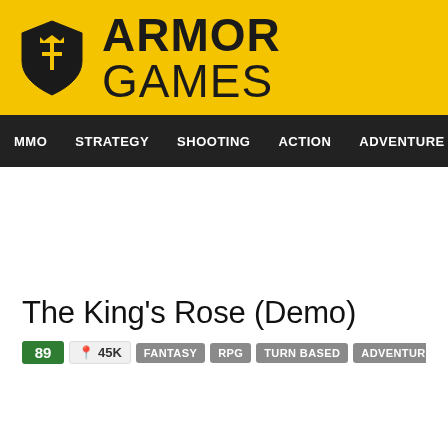ARMOR GAMES
MMO  STRATEGY  SHOOTING  ACTION  ADVENTURE  P
The King's Rose (Demo)
89  45K  FANTASY  RPG  TURN BASED  ADVENTURE  KEYBOARD ONLY